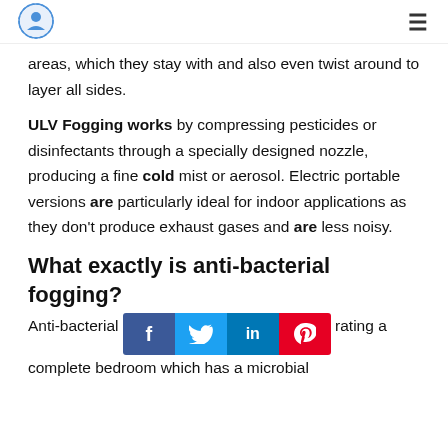[Logo] [Hamburger menu]
areas, which they stay with and also even twist around to layer all sides.
ULV Fogging works by compressing pesticides or disinfectants through a specially designed nozzle, producing a fine cold mist or aerosol. Electric portable versions are particularly ideal for indoor applications as they don't produce exhaust gases and are less noisy.
What exactly is anti-bacterial fogging?
[Figure (infographic): Social sharing bar with Facebook, Twitter, LinkedIn, and Pinterest buttons]
Anti-bacterial [fogging involves saturating a complete bedroom which has a microbial